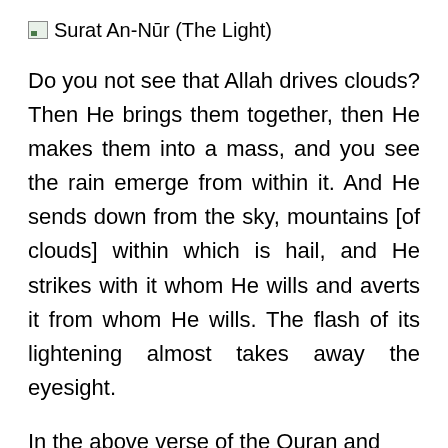Surat An-Nūr (The Light)
Do you not see that Allah drives clouds? Then He brings them together, then He makes them into a mass, and you see the rain emerge from within it. And He sends down from the sky, mountains [of clouds] within which is hail, and He strikes with it whom He wills and averts it from whom He wills. The flash of its lightening almost takes away the eyesight.
In the above verse of the Quran and few